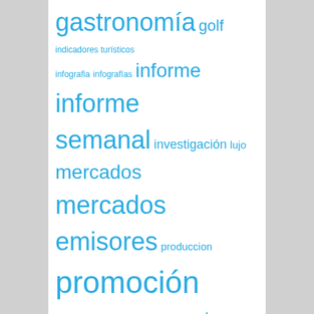[Figure (other): Tag cloud with Spanish tourism-related keywords in varying sizes in blue: gastronomía, golf, indicadores turísticos, infografia, infografías, informe, informe semanal, investigación, lujo, mercados, mercados emisores, produccion, promoción, promoción turística, puerto de la cruz, Reino Unido, rodaje, rodajes, rusia, senderismo, sostenibilidad, tcb, tenerife, turismo, turismo de tenerife, vuelos, YoSoyTenerife]
POPULAR
Destacamos